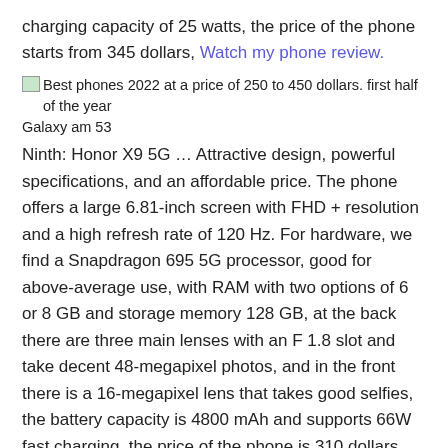charging capacity of 25 watts, the price of the phone starts from 345 dollars, Watch my phone review.
[Figure (illustration): Small thumbnail image placeholder]
Best phones 2022 at a price of 250 to 450 dollars. first half of the year
Galaxy am 53
Ninth: Honor X9 5G … Attractive design, powerful specifications, and an affordable price. The phone offers a large 6.81-inch screen with FHD + resolution and a high refresh rate of 120 Hz. For hardware, we find a Snapdragon 695 5G processor, good for above-average use, with RAM with two options of 6 or 8 GB and storage memory 128 GB, at the back there are three main lenses with an F 1.8 slot and take decent 48-megapixel photos, and in the front there is a 16-megapixel lens that takes good selfies, the battery capacity is 4800 mAh and supports 66W fast charging, the price of the phone is 310 dollars. Watch my phone review